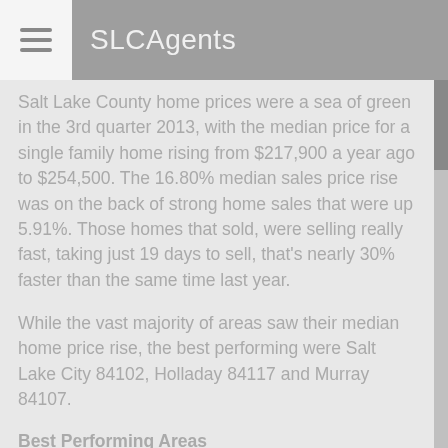SLCAgents
Salt Lake County home prices were a sea of green in the 3rd quarter 2013, with the median price for a single family home rising from $217,900 a year ago to $254,500. The 16.80% median sales price rise was on the back of strong home sales that were up 5.91%. Those homes that sold, were selling really fast, taking just 19 days to sell, that's nearly 30% faster than the same time last year.
While the vast majority of areas saw their median home price rise, the best performing were Salt Lake City 84102, Holladay 84117 and Murray 84107.
Best Performing Areas
Salt Lake City 84102 up 37.92%
Holladay 84117 up 30.36%
Murray 84107 up 26.25%
Just two zip codes saw a declining median sales price,